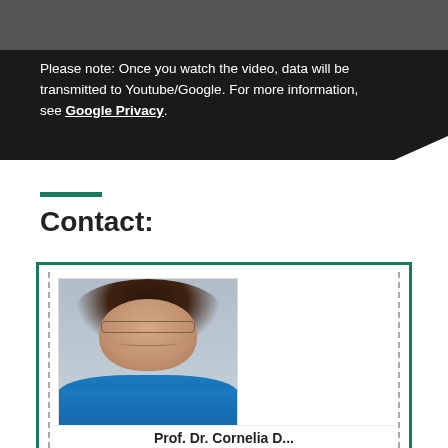Please note: Once you watch the video, data will be transmitted to Youtube/Google. For more information, see Google Privacy.
Contact:
[Figure (photo): Portrait photo of a smiling woman with dark hair, glasses, wearing a teal/blue top, shown from shoulders up against a light gray background.]